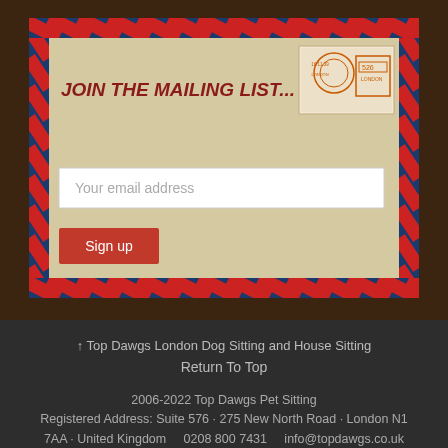[Figure (illustration): Airmail envelope graphic with red and blue diagonal stripe border, vintage postage stamp in top-right, containing a mailing list sign-up form with title 'JOIN THE MAILING LIST...', an email address input field, and a red 'Sign up' button.]
↑ Top Dawgs London Dog Sitting and House Sitting
Return To Top
2006-2022 Top Dawgs Pet Sitting
Registered Address: Suite 576 · 275 New North Road · London N1 7AA · United Kingdom     0208 800 7431     info@topdawgs.co.uk